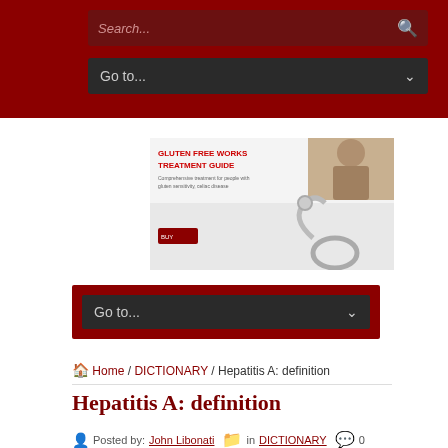Search... [search icon] | Go to... [dropdown]
[Figure (illustration): Advertisement for Gluten Free Works Treatment Guide showing a woman and a stethoscope image with red text title and a buy button]
Go to... [dropdown navigation]
Home / DICTIONARY / Hepatitis A: definition
Hepatitis A: definition
Posted by: John Libonati  in DICTIONARY  0